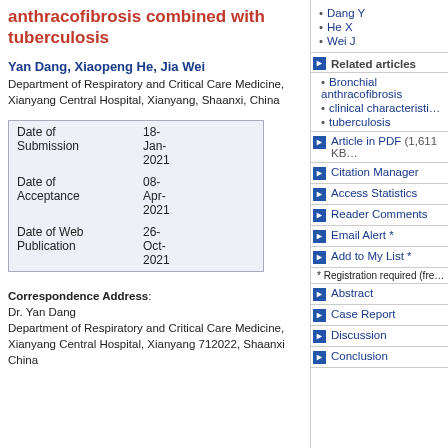anthracofibrosis combined with tuberculosis
Yan Dang, Xiaopeng He, Jia Wei
Department of Respiratory and Critical Care Medicine, Xianyang Central Hospital, Xianyang, Shaanxi, China
|  |  |
| --- | --- |
| Date of Submission | 18-Jan-2021 |
| Date of Acceptance | 08-Apr-2021 |
| Date of Web Publication | 26-Oct-2021 |
Correspondence Address: Dr. Yan Dang Department of Respiratory and Critical Care Medicine, Xianyang Central Hospital, Xianyang 712022, Shaanxi China
Dang Y
He X
Wei J
Related articles
Bronchial anthracofibrosis
clinical characteristics
tuberculosis
Article in PDF (1,611 KB)
Citation Manager
Access Statistics
Reader Comments
Email Alert *
Add to My List *
* Registration required (free)
Abstract
Case Report
Discussion
Conclusion